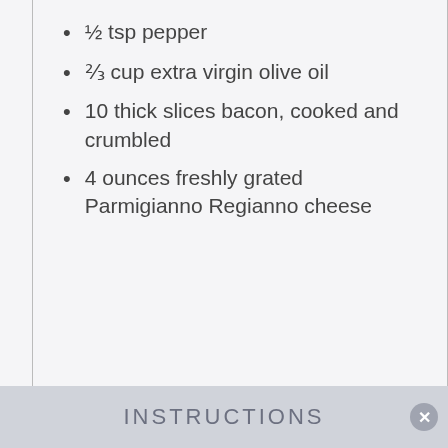½ tsp pepper
⅔ cup extra virgin olive oil
10 thick slices bacon, cooked and crumbled
4 ounces freshly grated Parmigianno Regianno cheese
INSTRUCTIONS